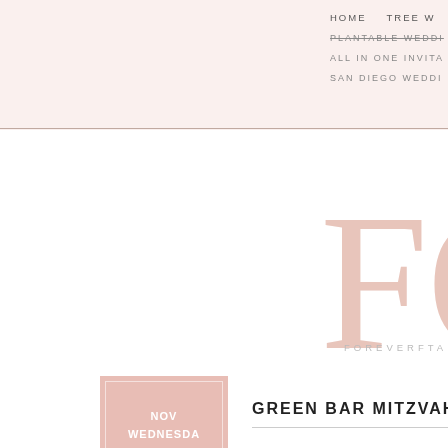HOME   TREE W   PLANTABLE WEDDI   ALL IN ONE INVITA   SAN DIEGO WEDDI
FOR
FOREVERFTANC
[Figure (other): Date box with pink background showing NOV WEDNESDAY, 6]
GREEN BAR MITZVAH INVITATIONS